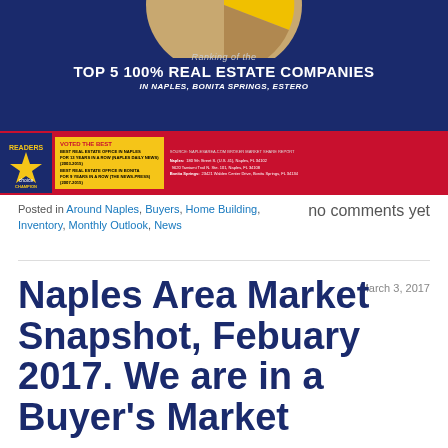[Figure (infographic): Ranking of the Top 5 100% Real Estate Companies in Naples, Bonita Springs, Estero — blue banner with partial pie chart, red strip with Choice Champion logo, voted the best text, and office addresses]
Posted in Around Naples, Buyers, Home Building, Inventory, Monthly Outlook, News
no comments yet
Naples Area Market Snapshot, Febuary 2017. We are in a Buyer's Market
March 3, 2017